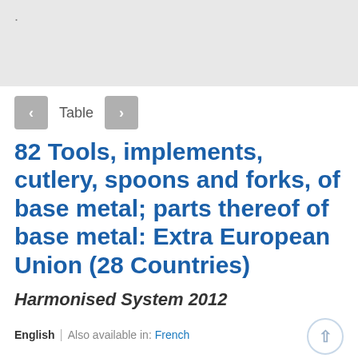82 Tools, implements, cutlery, spoons and forks, of base metal; parts thereof of base metal: Extra European Union (28 Countries)
Harmonised System 2012
English | Also available in: French
More On
Click to access: XLS WEB PDF